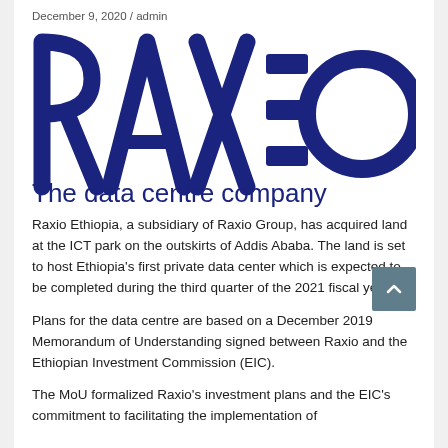December 9, 2020 / admin
[Figure (logo): RAXIO logo in dark navy blue, large bold letters R-A-X with three horizontal rectangles between the X and O, followed by a circular O. Below the logo mark: 'The data centre company' in navy blue.]
Raxio Ethiopia, a subsidiary of Raxio Group, has acquired land at the ICT park on the outskirts of Addis Ababa. The land is set to host Ethiopia's first private data center which is expected to be completed during the third quarter of the 2021 fiscal year.
Plans for the data centre are based on a December 2019 Memorandum of Understanding signed between Raxio and the Ethiopian Investment Commission (EIC).
The MoU formalized Raxio's investment plans and the EIC's commitment to facilitating the implementation of